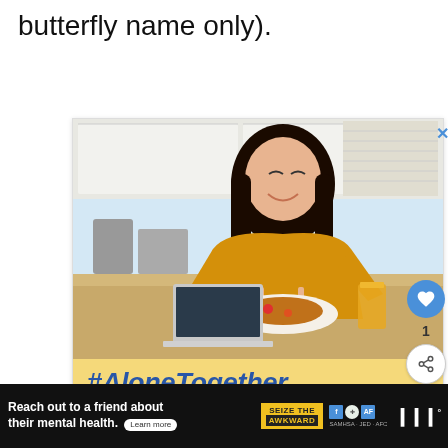butterfly name only).
[Figure (photo): Social media post card showing a smiling Asian woman in a yellow/mustard shirt eating at a table with a laptop, food plate, and orange juice glass in a kitchen setting. The bottom of the card has a yellow banner with bold blue italic text '#AloneTogether'. There is a close (X) button at top right, and social interaction buttons (heart, count '1', share) on the right side. Below the card is a 'WHAT'S NEXT' section with a thumbnail and text '10 Of The Best Entomology...']
[Figure (infographic): Bottom advertisement banner on dark background: 'Reach out to a friend about their mental health. Learn more' with 'SEIZE THE AWKWARD' badge in yellow/black, associated logos, and a stylized W logo on the right.]